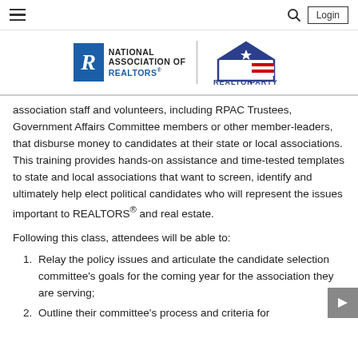Navigation header with hamburger menu, search icon, and Login button
[Figure (logo): National Association of REALTORS® logo alongside REALTOR Party logo]
association staff and volunteers, including RPAC Trustees, Government Affairs Committee members or other member-leaders, that disburse money to candidates at their state or local associations. This training provides hands-on assistance and time-tested templates to state and local associations that want to screen, identify and ultimately help elect political candidates who will represent the issues important to REALTORS® and real estate.
Following this class, attendees will be able to:
Relay the policy issues and articulate the candidate selection committee's goals for the coming year for the association they are serving;
Outline their committee's process and criteria for